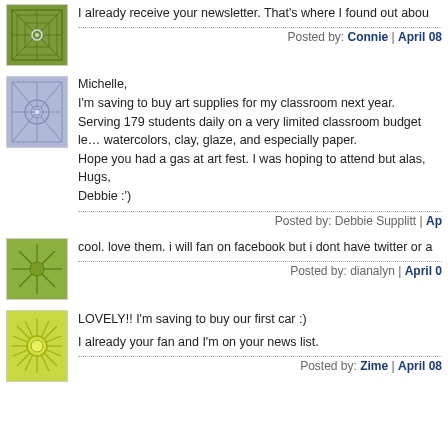I already receive your newsletter. That's where I found out abou...
Posted by: Connie | April 08
Michelle,
I'm saving to buy art supplies for my classroom next year.
Serving 179 students daily on a very limited classroom budget le... watercolors, clay, glaze, and especially paper.
Hope you had a gas at art fest. I was hoping to attend but alas...
Hugs,
Debbie :')
Posted by: Debbie Supplitt | Ap...
cool. love them. i will fan on facebook but i dont have twitter or a...
Posted by: dianalyn | April 0...
LOVELY!! I'm saving to buy our first car :)

I already your fan and I'm on your news list.
Posted by: Zime | April 08